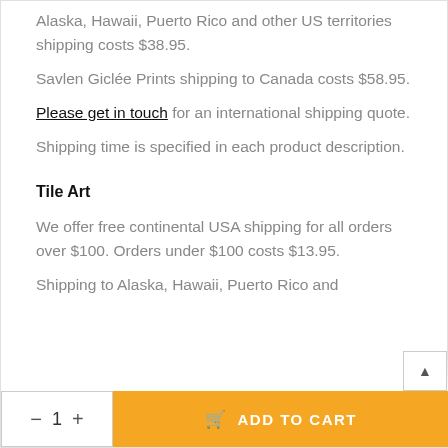Alaska, Hawaii, Puerto Rico and other US territories shipping costs $38.95.
Savlen Giclée Prints shipping to Canada costs $58.95.
Please get in touch for an international shipping quote.
Shipping time is specified in each product description.
Tile Art
We offer free continental USA shipping for all orders over $100. Orders under $100 costs $13.95.
Shipping to Alaska, Hawaii, Puerto Rico and